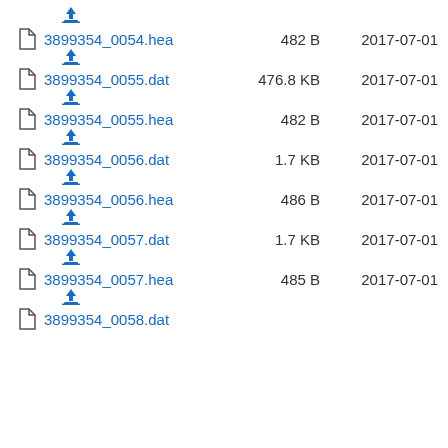3899354_0054.hea  482 B  2017-07-01
3899354_0055.dat  476.8 KB  2017-07-01
3899354_0055.hea  482 B  2017-07-01
3899354_0056.dat  1.7 KB  2017-07-01
3899354_0056.hea  486 B  2017-07-01
3899354_0057.dat  1.7 KB  2017-07-01
3899354_0057.hea  485 B  2017-07-01
3899354_0058.dat